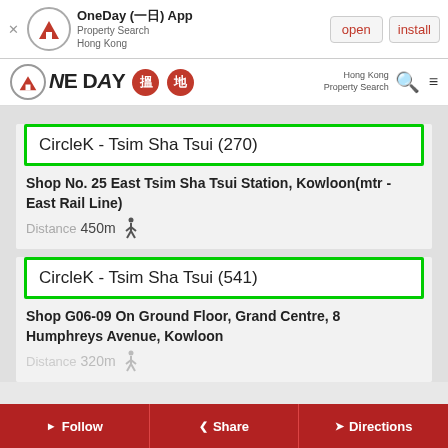[Figure (screenshot): App install banner for OneDay (一日) App - Property Search Hong Kong with open and install buttons]
[Figure (logo): OneDay 搵地 Hong Kong Property Search navigation bar with search and menu icons]
CircleK - Tsim Sha Tsui (270)
Shop No. 25 East Tsim Sha Tsui Station, Kowloon(mtr - East Rail Line)
Distance 450m
CircleK - Tsim Sha Tsui (541)
Shop G06-09 On Ground Floor, Grand Centre, 8 Humphreys Avenue, Kowloon
Distance 320m
Follow  Share  Directions